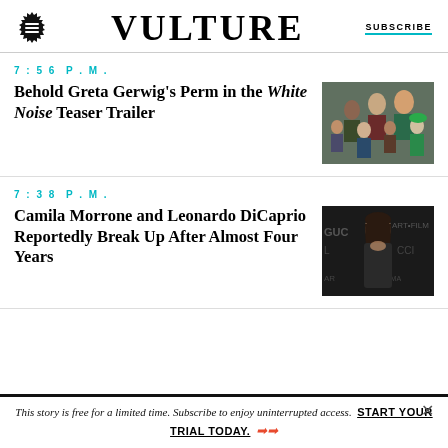VULTURE | SUBSCRIBE
7:56 P.M.
Behold Greta Gerwig's Perm in the White Noise Teaser Trailer
[Figure (photo): Group of people including children and adults in a scene from White Noise]
7:38 P.M.
Camila Morrone and Leonardo DiCaprio Reportedly Break Up After Almost Four Years
[Figure (photo): Woman in dark sheer dress at Gucci art and film event, LACMA backdrop]
This story is free for a limited time. Subscribe to enjoy uninterrupted access. START YOUR TRIAL TODAY.